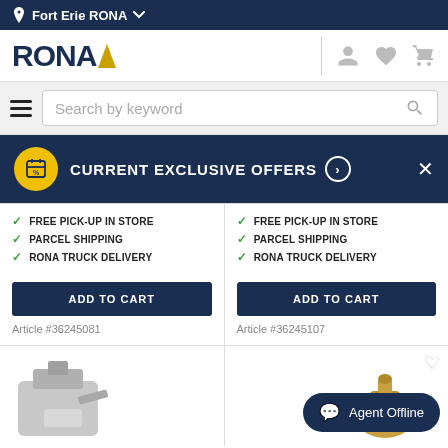Fort Erie RONA
[Figure (logo): RONA logo with blue text and yellow triangle]
Search by keyword
CURRENT EXCLUSIVE OFFERS
FREE PICK-UP IN STORE
PARCEL SHIPPING
RONA TRUCK DELIVERY
FREE PICK-UP IN STORE
PARCEL SHIPPING
RONA TRUCK DELIVERY
ADD TO CART
ADD TO CART
Article #36245081
Article #36245107
[Figure (photo): Plumbing valve product image]
[Figure (photo): Brass hose fitting product image]
Agent Offline